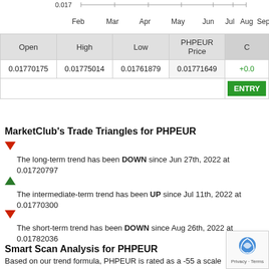[Figure (continuous-plot): Price chart for PHPEUR showing values around 0.017, x-axis labeled Feb Mar Apr May Jun Jul Aug Sep]
| Open | High | Low | PHPEUR Price | C |
| --- | --- | --- | --- | --- |
| 0.01770175 | 0.01775014 | 0.01761879 | 0.01771649 | +0.0 |
|  |  |  |  | ENTRY |
MarketClub's Trade Triangles for PHPEUR
The long-term trend has been DOWN since Jun 27th, 2022 at 0.01720797
The intermediate-term trend has been UP since Jul 11th, 2022 at 0.01770300
The short-term trend has been DOWN since Aug 26th, 2022 at 0.01782036
Smart Scan Analysis for PHPEUR
Based on our trend formula, PHPEUR is rated as a -55 a scale from -100 (Strong Downtrend) to +100 (Strong Uptrend).